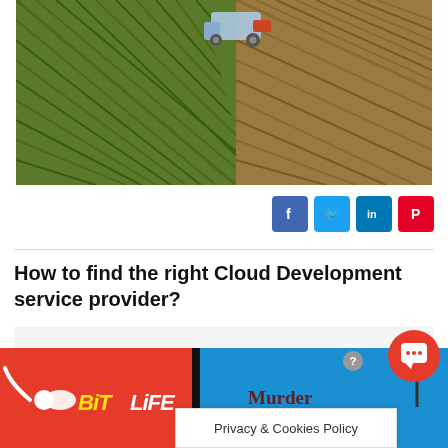[Figure (photo): Aerial view of a farm field being harvested by a tractor, showing diagonal rows of crops and soil]
[Figure (infographic): Social sharing buttons: Facebook (blue), Twitter (light blue), LinkedIn (blue), Pinterest (red)]
How to find the right Cloud Development service provider?
[Figure (infographic): Content placeholder area (grey box)]
[Figure (infographic): Bottom ad bar with BitLife game ad on left, Murder game ad on right, Privacy & Cookies Policy popup, and chat button]